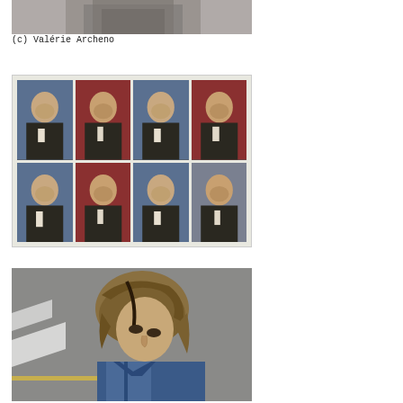[Figure (photo): Partial/cropped photo of a person in a suit jacket, top portion only visible]
(c) Valérie Archeno
[Figure (photo): Contact sheet style grid of 8 passport-photo-sized portraits of a man, some with a cigarette, arranged 4x2, with blue and red curtain backgrounds]
[Figure (photo): Photo of a young man with dark blond hair wearing a denim jacket, looking down, shot from above on a street with crosswalk markings]